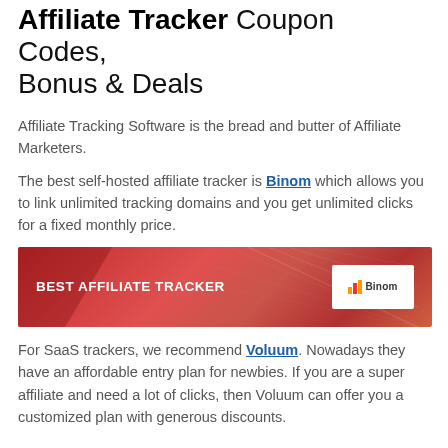Affiliate Tracker Coupon Codes, Bonus & Deals
Affiliate Tracking Software is the bread and butter of Affiliate Marketers.
The best self-hosted affiliate tracker is Binom which allows you to link unlimited tracking domains and you get unlimited clicks for a fixed monthly price.
[Figure (infographic): Red banner advertisement reading BEST AFFILIATE TRACKER with a Binom logo box on the right side]
For SaaS trackers, we recommend Voluum. Nowadays they have an affordable entry plan for newbies. If you are a super affiliate and need a lot of clicks, then Voluum can offer you a customized plan with generous discounts.